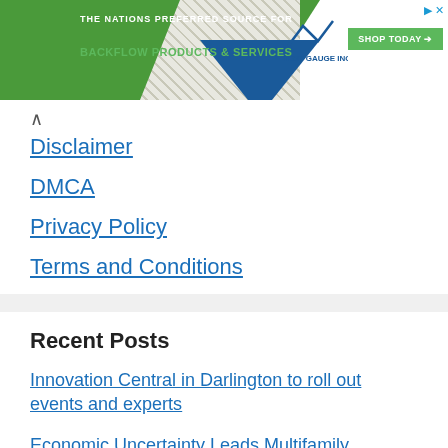[Figure (screenshot): Advertisement banner for Test Gauge Inc. — The Nations Preferred Source for Backflow Products & Services. Green and blue themed with 'Shop Today' button.]
Disclaimer
DMCA
Privacy Policy
Terms and Conditions
Recent Posts
Innovation Central in Darlington to roll out events and experts
Economic Uncertainty Leads Multifamily